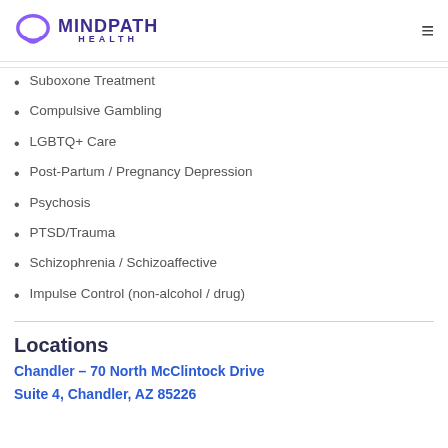MINDPATH HEALTH
Suboxone Treatment
Compulsive Gambling
LGBTQ+ Care
Post-Partum / Pregnancy Depression
Psychosis
PTSD/Trauma
Schizophrenia / Schizoaffective
Impulse Control (non-alcohol / drug)
Locations
Chandler – 70 North McClintock Drive
Suite 4, Chandler, AZ 85226